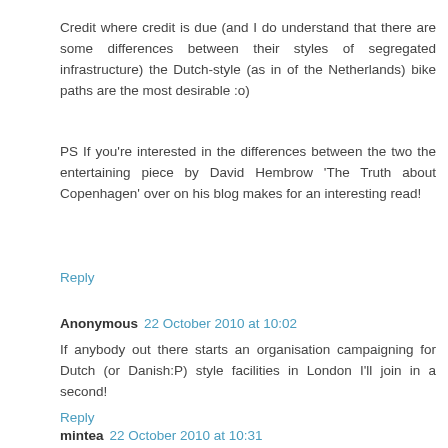Credit where credit is due (and I do understand that there are some differences between their styles of segregated infrastructure) the Dutch-style (as in of the Netherlands) bike paths are the most desirable :o)
PS If you're interested in the differences between the two the entertaining piece by David Hembrow 'The Truth about Copenhagen' over on his blog makes for an interesting read!
Reply
Anonymous  22 October 2010 at 10:02
If anybody out there starts an organisation campaigning for Dutch (or Danish:P) style facilities in London I'll join in a second!
Reply
mintea  22 October 2010 at 10:31